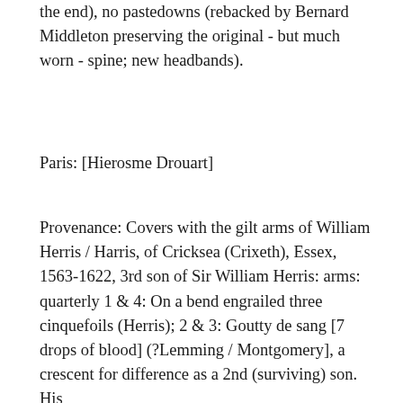the end), no pastedowns (rebacked by Bernard Middleton preserving the original - but much worn - spine; new headbands).
Paris: [Hierosme Drouart]
Provenance: Covers with the gilt arms of William Herris / Harris, of Cricksea (Crixeth), Essex, 1563-1622, 3rd son of Sir William Herris: arms: quarterly 1 & 4: On a bend engrailed three cinquefoils (Herris); 2 & 3: Goutty de sang [7 drops of blood] (?Lemming / Montgomery], a crescent for difference as a 2nd (surviving) son. His